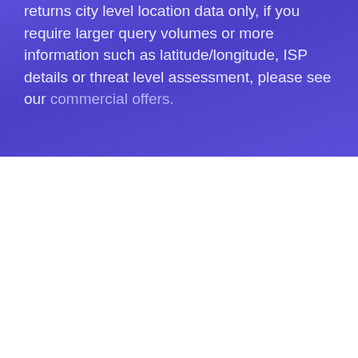the free API. It is limited to 1,000 daily requests and returns city level location data only, if you require larger query volumes or more information such as latitude/longitude, ISP details or threat level assessment, please see our commercial offers.